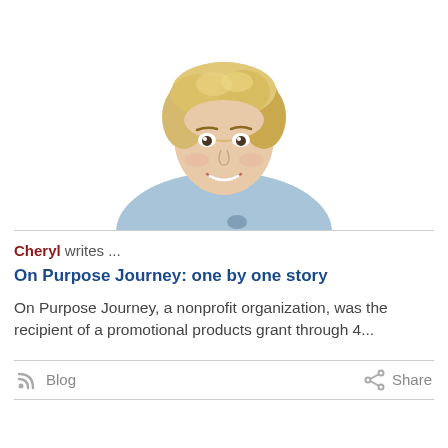[Figure (photo): Portrait photo of a smiling blonde woman wearing a light blue v-neck top with a logo, photographed from the waist up against a white background]
Cheryl writes ...
On Purpose Journey: one by one story
On Purpose Journey, a nonprofit organization, was the recipient of a promotional products grant through 4...
Blog
Share